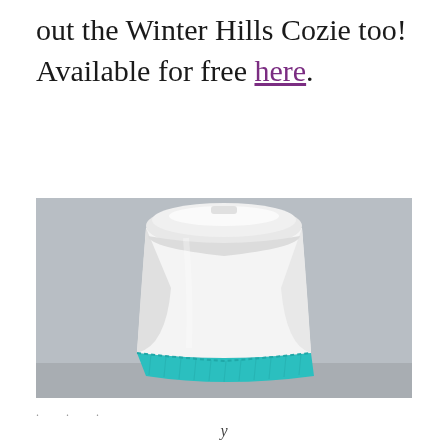out the Winter Hills Cozie too! Available for free here.
[Figure (photo): A white disposable coffee cup with a white lid, wearing a teal/turquoise crocheted cozy around its base, photographed against a light gray background.]
y